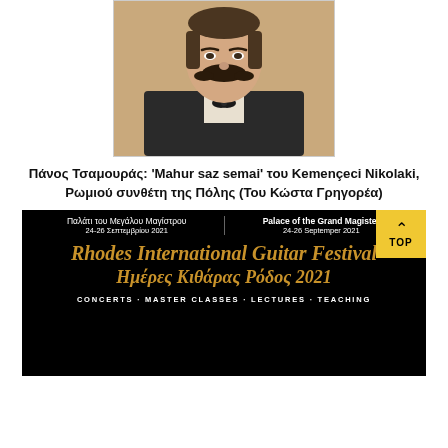[Figure (photo): Black and white portrait photograph of a man with a large mustache wearing a dark suit and bow tie]
Πάνος Τσαμουράς: 'Mahur saz semai' του Kemençeci Nikolaki, Ρωμιού συνθέτη της Πόλης (Του Κώστα Γρηγορέα)
[Figure (photo): Advertisement/poster for Rhodes International Guitar Festival - Ημέρες Κιθάρας Ρόδος 2021, at Palace of the Grand Magister, 24-26 September 2021. Black background with gold italic text. Bottom text: CONCERTS, MASTER CLASSES, LECTURES, TEACHING. Yellow TOP button in corner.]